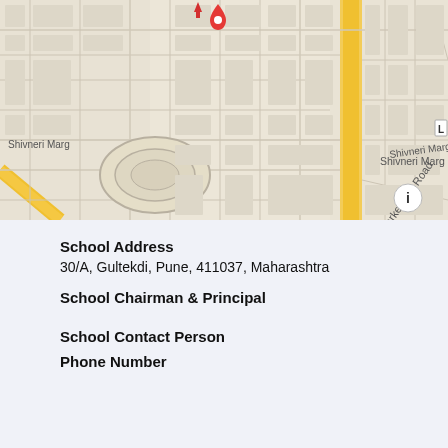[Figure (map): Street map showing Shivneri Marg and Marketyard Road area in Pune, India. A yellow highlighted road runs vertically through the map. Red location pin marker and info button visible.]
School Address
30/A, Gultekdi, Pune, 411037, Maharashtra
School Chairman & Principal
School Contact Person
Phone Number